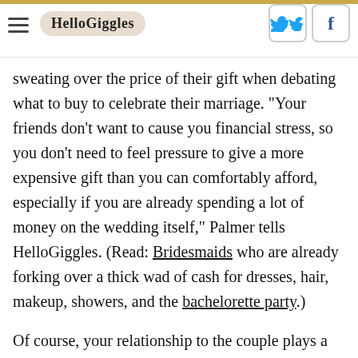HelloGiggles
sweating over the price of their gift when debating what to buy to celebrate their marriage. "Your friends don't want to cause you financial stress, so you don't need to feel pressure to give a more expensive gift than you can comfortably afford, especially if you are already spending a lot of money on the wedding itself," Palmer tells HelloGiggles. (Read: Bridesmaids who are already forking over a thick wad of cash for dresses, hair, makeup, showers, and the bachelorette party.)
Of course, your relationship to the couple plays a big role in how generous you'll want to be when gifting — we're guessing you probably wouldn't dish